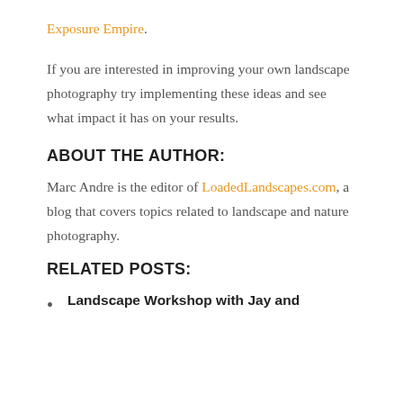Exposure Empire.
If you are interested in improving your own landscape photography try implementing these ideas and see what impact it has on your results.
ABOUT THE AUTHOR:
Marc Andre is the editor of LoadedLandscapes.com, a blog that covers topics related to landscape and nature photography.
RELATED POSTS:
Landscape Workshop with Jay and